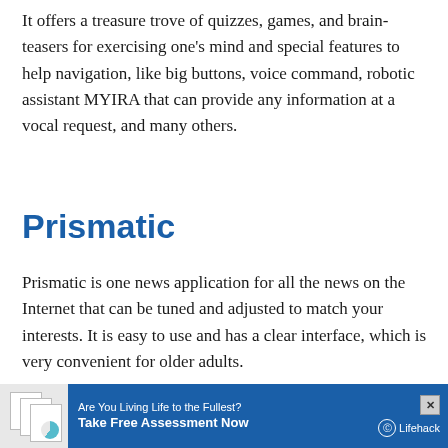It offers a treasure trove of quizzes, games, and brain-teasers for exercising one’s mind and special features to help navigation, like big buttons, voice command, robotic assistant MYIRA that can provide any information at a vocal request, and many others.
Prismatic
Prismatic is one news application for all the news on the Internet that can be tuned and adjusted to match your interests. It is easy to use and has a clear interface, which is very convenient for older adults.
This ... ld like to see, ... thout its help.
[Figure (other): Advertisement banner for Lifehack: 'Are You Living Life to the Fullest? Take Free Assessment Now' with thumbnail images and Lifehack logo.]